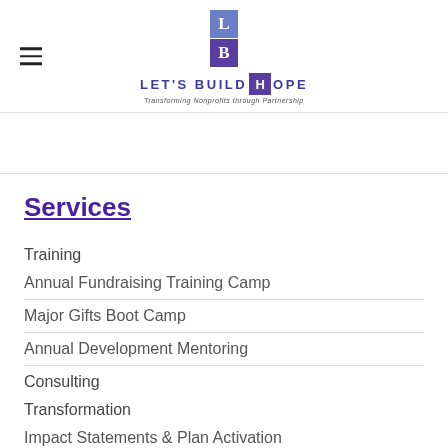[Figure (logo): Let's Build Hope logo with L and B tiles and tagline 'Transforming Nonprofits through Partnership']
Services
Training
Annual Fundraising Training Camp
Major Gifts Boot Camp
Annual Development Mentoring
Consulting
Transformation
Impact Statements & Plan Activation
GrantsPLUS